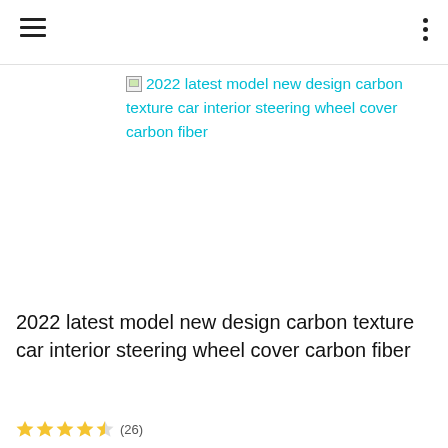Navigation header with hamburger menu and dots menu
[Figure (screenshot): Broken product image placeholder with cyan link text: '2022 latest model new design carbon texture car interior steering wheel cover carbon fiber']
2022 latest model new design carbon texture car interior steering wheel cover carbon fiber
(26) star rating